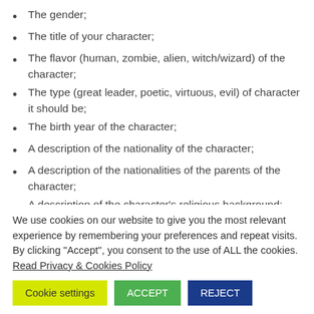The gender;
The title of your character;
The flavor (human, zombie, alien, witch/wizard) of the character;
The type (great leader, poetic, virtuous, evil) of character it should be;
The birth year of the character;
A description of the nationality of the character;
A description of the nationalities of the parents of the character;
A description of the character's religious background;
We use cookies on our website to give you the most relevant experience by remembering your preferences and repeat visits. By clicking "Accept", you consent to the use of ALL the cookies. Read Privacy & Cookies Policy